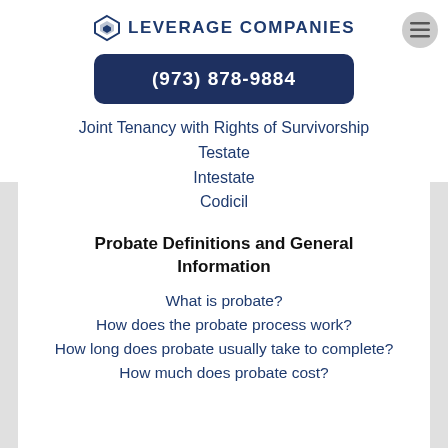LEVERAGE COMPANIES
(973) 878-9884
Joint Tenancy with Rights of Survivorship
Testate
Intestate
Codicil
Probate Definitions and General Information
What is probate?
How does the probate process work?
How long does probate usually take to complete?
How much does probate cost?